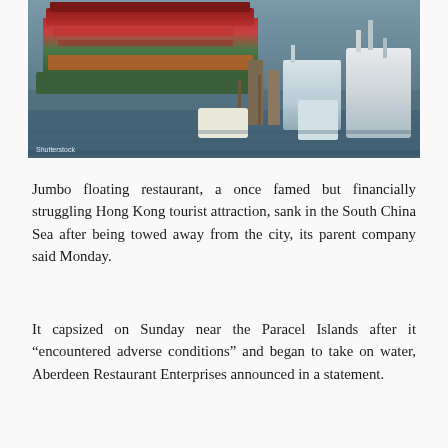[Figure (photo): Aerial view of the Jumbo floating restaurant in Hong Kong harbor, with yachts and docks visible. Shutterstock watermark in bottom-left corner.]
Jumbo floating restaurant, a once famed but financially struggling Hong Kong tourist attraction, sank in the South China Sea after being towed away from the city, its parent company said Monday.
It capsized on Sunday near the Paracel Islands after it “encountered adverse conditions” and began to take on water, Aberdeen Restaurant Enterprises announced in a statement.